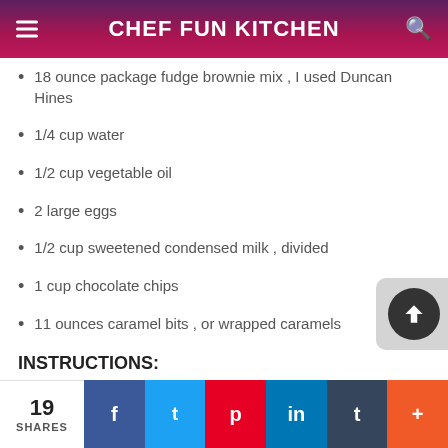CHEF FUN KITCHEN
18 ounce package fudge brownie mix , I used Duncan Hines
1/4 cup water
1/2 cup vegetable oil
2 large eggs
1/2 cup sweetened condensed milk , divided
1 cup chocolate chips
11 ounces caramel bits , or wrapped caramels
INSTRUCTIONS:
1. Preheat oven to 350°F. Line a 9×9 pan with foil and spray with nonstick spray. Set aside.
19 SHARES  f  t  p  in  t  +